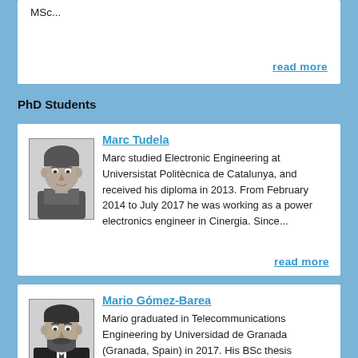MSc...
read more
PhD Students
[Figure (photo): Black and white headshot photo of Marc Tudela, a young man smiling]
Marc Tudela
Marc studied Electronic Engineering at Universistat Politècnica de Catalunya, and received his diploma in 2013. From February 2014 to July 2017 he was working as a power electronics engineer in Cinergia. Since...
read more
[Figure (photo): Black and white headshot photo of Mario Gómez-Barea, a man with a beard wearing a suit]
Mario Gómez-Barea
Mario graduated in Telecommunications Engineering by Universidad de Granada (Granada, Spain) in 2017. His BSc thesis consisted in the design and implementation of a medical device based on induction heating...
read more